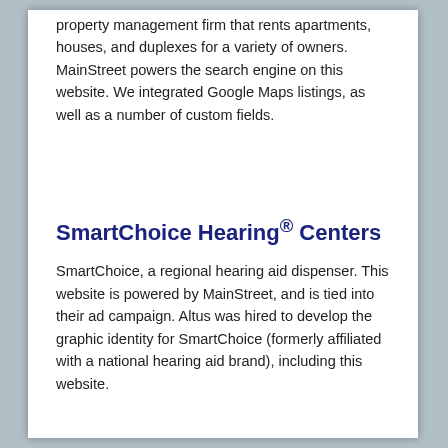property management firm that rents apartments, houses, and duplexes for a variety of owners. MainStreet powers the search engine on this website. We integrated Google Maps listings, as well as a number of custom fields.
SmartChoice Hearing® Centers
SmartChoice, a regional hearing aid dispenser. This website is powered by MainStreet, and is tied into their ad campaign. Altus was hired to develop the graphic identity for SmartChoice (formerly affiliated with a national hearing aid brand), including this website.
Salon Ne-Zhoni
Salon Ne-Zhoni, a regional hearing aid...